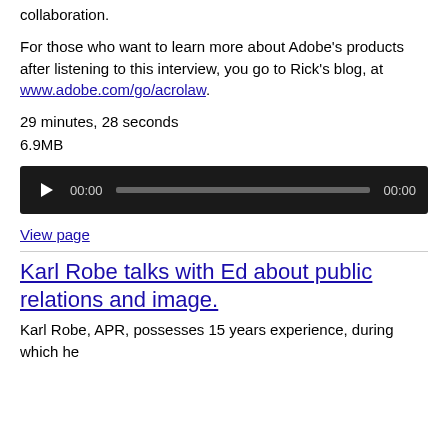collaboration.
For those who want to learn more about Adobe's products after listening to this interview, you go to Rick's blog, at www.adobe.com/go/acrolaw.
29 minutes, 28 seconds
6.9MB
[Figure (other): Audio player widget with play button, time display 00:00, progress bar, and end time 00:00]
View page
Karl Robe talks with Ed about public relations and image.
Karl Robe, APR, possesses 15 years experience, during which he